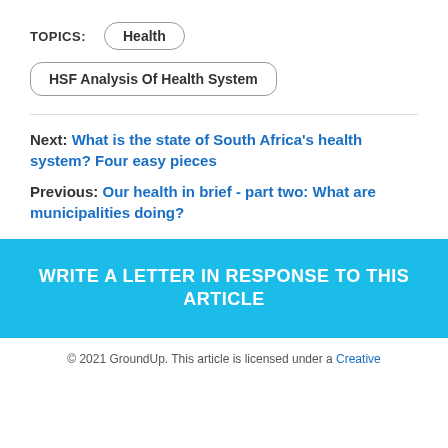TOPICS:  Health
HSF Analysis Of Health System
Next:  What is the state of South Africa's health system? Four easy pieces
Previous:  Our health in brief - part two: What are municipalities doing?
WRITE A LETTER IN RESPONSE TO THIS ARTICLE
© 2021 GroundUp. This article is licensed under a Creative